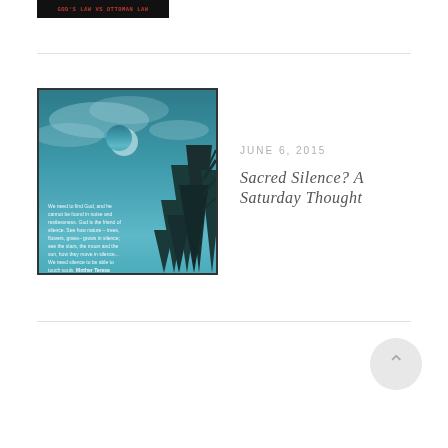[Figure (illustration): Small black banner image with red bold text reading GOD'S LAW VS OTTOMAN LAW]
[Figure (photo): Square photo with teal/blue sky and dark silhouetted pine trees at right, moon visible in upper area, overlaid with a quote by Mother Teresa about silence and finding God]
JUNE 6, 2015
Sacred Silence? A Saturday Thought